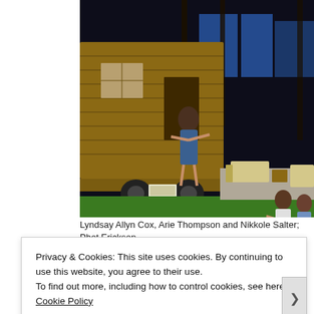[Figure (photo): Theater stage production photo showing performers on a set with a wooden trailer/tiny house, green lawn, and outdoor furniture including lounge chairs and wooden chairs. A woman in a blue dress stands on the trailer with arms outstretched. Two other performers are visible at right. The backdrop shows trees and blue-lit windows.]
Lyndsay Allyn Cox, Arie Thompson and Nikkole Salter; Phot Erickson
Privacy & Cookies: This site uses cookies. By continuing to use this website, you agree to their use.
To find out more, including how to control cookies, see here: Cookie Policy